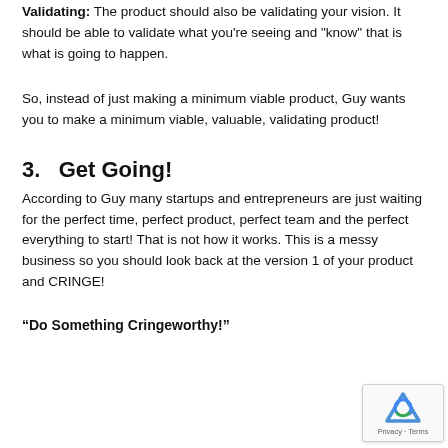Validating: The product should also be validating your vision. It should be able to validate what you're seeing and "know" that is what is going to happen.
So, instead of just making a minimum viable product, Guy wants you to make a minimum viable, valuable, validating product!
3.   Get Going!
According to Guy many startups and entrepreneurs are just waiting for the perfect time, perfect product, perfect team and the perfect everything to start! That is not how it works. This is a messy business so you should look back at the version 1 of your product and CRINGE!
“Do Something Cringeworthy!”